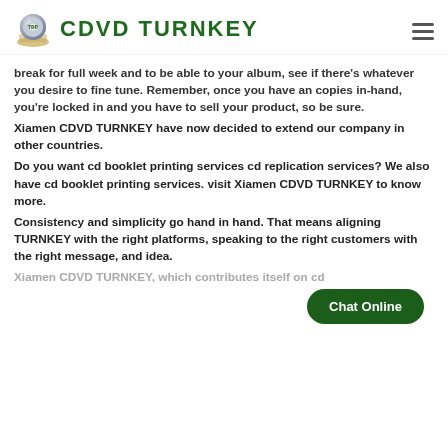CDVD TURNKEY
break for full week and to be able to your album, see if there's whatever you desire to fine tune. Remember, once you have an copies in-hand, you're locked in and you have to sell your product, so be sure.
Xiamen CDVD TURNKEY have now decided to extend our company in other countries.
Do you want cd booklet printing services cd replication services? We also have cd booklet printing services. visit Xiamen CDVD TURNKEY to know more.
Consistency and simplicity go hand in hand. That means aligning TURNKEY with the right platforms, speaking to the right customers with the right message, and idea.
Xiamen CDVD TURNKEY, which contributes itself on cd